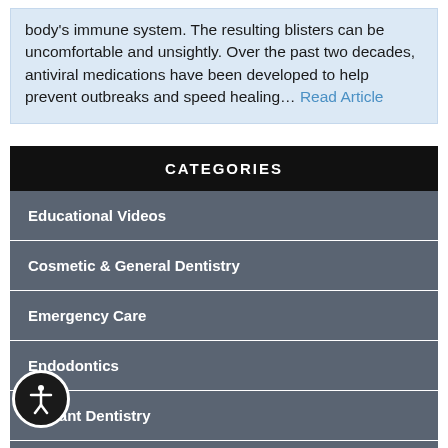body's immune system. The resulting blisters can be uncomfortable and unsightly. Over the past two decades, antiviral medications have been developed to help prevent outbreaks and speed healing... Read Article
CATEGORIES
Educational Videos
Cosmetic & General Dentistry
Emergency Care
Endodontics
Implant Dentistry
al Health